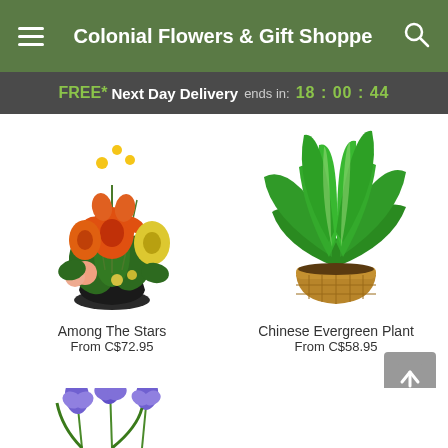Colonial Flowers & Gift Shoppe
FREE* Next Day Delivery ends in: 18:00:44
[Figure (photo): Floral arrangement called Among The Stars with orange and red lilies, yellow flowers, and pink carnations in a dark vase]
Among The Stars
From C$72.95
[Figure (photo): Chinese Evergreen Plant with broad green leaves in a woven basket]
Chinese Evergreen Plant
From C$58.95
[Figure (photo): Partial view of purple/blue iris flowers at the bottom of the page]